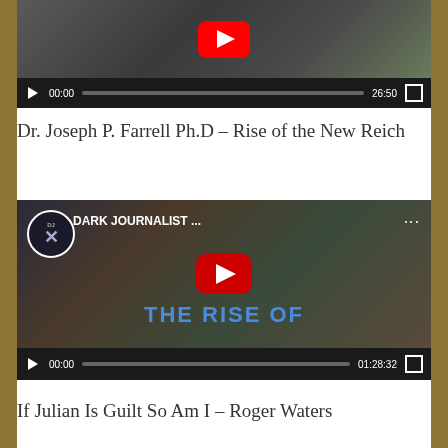[Figure (screenshot): YouTube video player (partially visible at top) showing a person, with controls showing 00:00 / 26:50]
Dr. Joseph P. Farrell Ph.D – Rise of the New Reich
[Figure (screenshot): YouTube video player embedded showing Dark Journalist video titled 'THE RISE OF...' with DJ logo, controls showing 00:00 / 01:28:32]
If Julian Is Guilt So Am I – Roger Waters